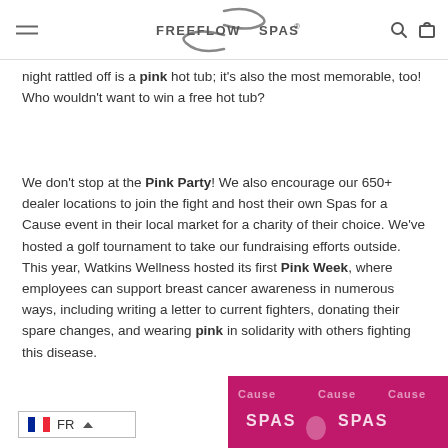FreeFlow Spas
night rattled off is a pink hot tub; it's also the most memorable, too! Who wouldn't want to win a free hot tub?
We don't stop at the Pink Party! We also encourage our 650+ dealer locations to join the fight and host their own Spas for a Cause event in their local market for a charity of their choice. We've hosted a golf tournament to take our fundraising efforts outside. This year, Watkins Wellness hosted its first Pink Week, where employees can support breast cancer awareness in numerous ways, including writing a letter to current fighters, donating their spare changes, and wearing pink in solidarity with others fighting this disease.
[Figure (other): French flag language selector showing FR with dropdown arrow]
[Figure (photo): Pink background image with SPAS text visible, event related to Spas for a Cause]